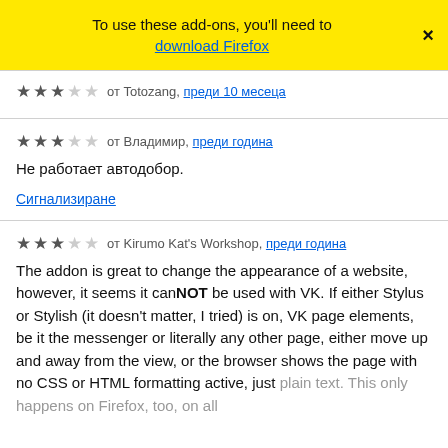To use these add-ons, you'll need to download Firefox
от Totozang, преди 10 месеца
от Владимир, преди година
Не работает автодобор.
Сигнализиране
от Kirumo Kat's Workshop, преди година
The addon is great to change the appearance of a website, however, it seems it canNOT be used with VK. If either Stylus or Stylish (it doesn't matter, I tried) is on, VK page elements, be it the messenger or literally any other page, either move up and away from the view, or the browser shows the page with no CSS or HTML formatting active, just plain text. This only happens on Firefox, too, on all